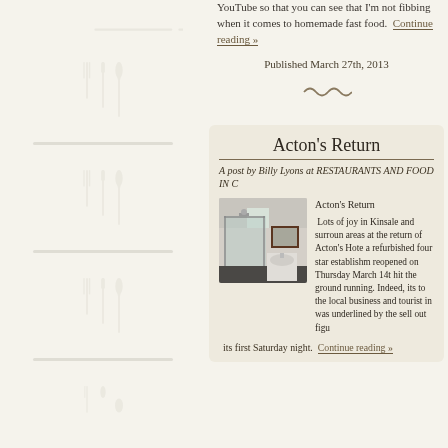[Figure (illustration): Decorative sidebar with repeated cutlery (fork, knife, spoon) silhouettes in light gray arranged vertically]
YouTube so that you can see that I'm not fibbing when it comes to homemade fast food.  Continue reading »
Published March 27th, 2013
[Figure (illustration): Decorative wave/tilde divider]
Acton's Return
A post by Billy Lyons at RESTAURANTS AND FOOD IN C
[Figure (photo): Photo of a hotel bathroom with glass shower enclosure, white sink, mirror, and dark tile floor]
Acton's Return

 Lots of joy in Kinsale and surrounding areas at the return of Acton's Hotel, a refurbished four star establishment, reopened on Thursday March 14th, hit the ground running. Indeed, its to the local business and tourist in was underlined by the sell out figu its first Saturday night.  Continue reading »